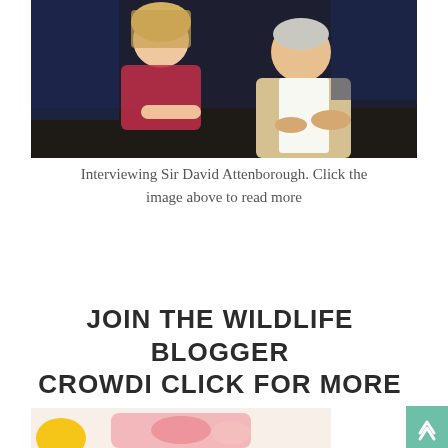[Figure (photo): Two people leaning over a table — a woman with blonde hair in a floral dress and a man in a beige blazer — appearing to be signing or looking at something. This is a photo of an interview with Sir David Attenborough.]
Interviewing Sir David Attenborough. Click the image above to read more
JOIN THE WILDLIFE BLOGGER CROWDI CLICK FOR MORE
[Figure (photo): Partial view of a colorful illustrated or decorative image at the bottom of the page with yellow and pink colors.]